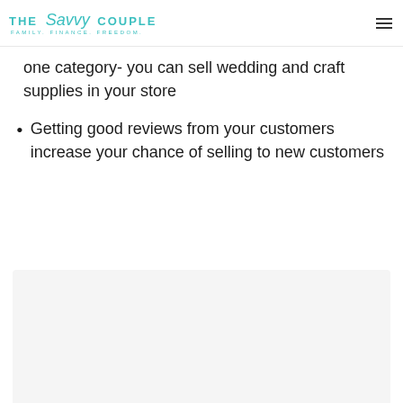THE Savvy COUPLE — FAMILY. FINANCE. FREEDOM.
one category- you can sell wedding and craft supplies in your store
Getting good reviews from your customers increase your chance of selling to new customers
[Figure (photo): Image placeholder with carousel dots (three gray dots) at the bottom, light gray background]